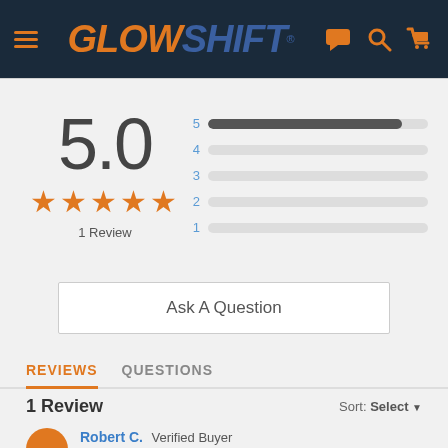[Figure (logo): GlowShift logo with navigation header on dark navy background, including hamburger menu, logo, chat icon, search icon, and cart icon]
[Figure (infographic): Rating summary showing 5.0 score, 5 orange stars, 1 Review, and star distribution bars (5 stars filled, 4-1 empty)]
Ask A Question
REVIEWS    QUESTIONS
1 Review
Sort: Select
Robert C.   Verified Buyer